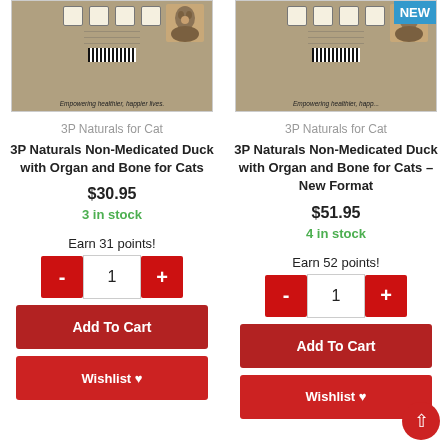[Figure (photo): Product image of 3P Naturals for Cat package, tan/brown packaging with cat photo]
3P Naturals for Cat
3P Naturals Non-Medicated Duck with Organ and Bone for Cats
$30.95
3 in stock
Earn 31 points!
Add To Cart
Wishlist ♥
[Figure (photo): Product image of 3P Naturals for Cat package with NEW badge, tan/brown packaging with cat photo]
3P Naturals for Cat
3P Naturals Non-Medicated Duck with Organ and Bone for Cats – New Format
$51.95
4 in stock
Earn 52 points!
Add To Cart
Wishlist ♥